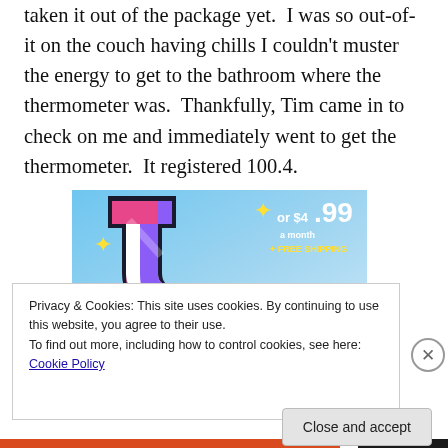taken it out of the package yet.  I was so out-of-it on the couch having chills I couldn't muster the energy to get to the bathroom where the thermometer was.  Thankfully, Tim came in to check on me and immediately went to get the thermometer.  It registered 100.4.
[Figure (screenshot): Tumblr advertisement banner showing the Tumblr 't' logo in pink/purple/white with sparkle stars on a blue sky background, with text 'or $4.99 a month + FREE SHIPPING']
Privacy & Cookies: This site uses cookies. By continuing to use this website, you agree to their use.
To find out more, including how to control cookies, see here: Cookie Policy
Close and accept